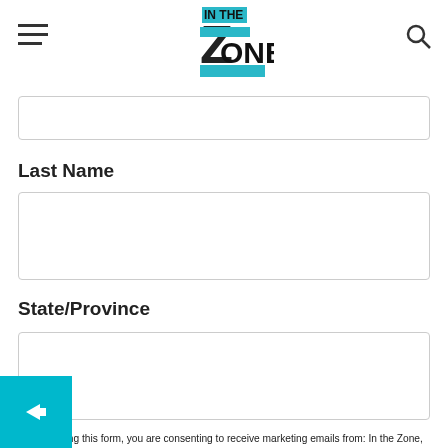In the Zone
Last Name
State/Province
By submitting this form, you are consenting to receive marketing emails from: In the Zone, 373 Route 46 West, Suite 220E, Fairfield, NJ, 07004, US. You can revoke your consent to receive emails at any time by using the SafeUnsubscribe® link, found at the bottom of every email. Emails are serviced by Constant Contact.
Sign Up!